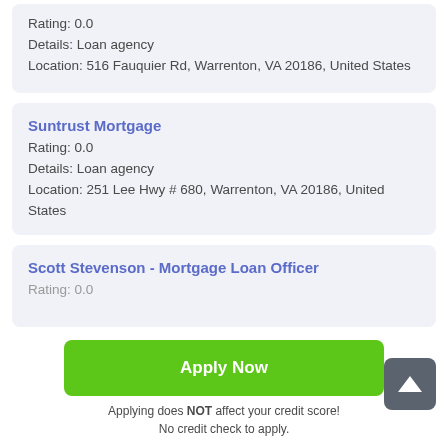Rating: 0.0
Details: Loan agency
Location: 516 Fauquier Rd, Warrenton, VA 20186, United States
Suntrust Mortgage
Rating: 0.0
Details: Loan agency
Location: 251 Lee Hwy # 680, Warrenton, VA 20186, United States
Scott Stevenson - Mortgage Loan Office
Rating: 0.0
Apply Now
Applying does NOT affect your credit score!
No credit check to apply.